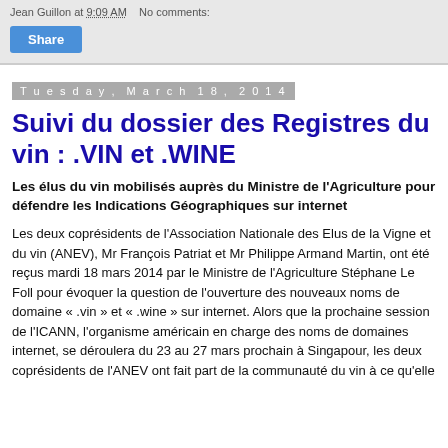Jean Guillon at 9:09 AM   No comments:
Share
Tuesday, March 18, 2014
Suivi du dossier des Registres du vin : .VIN et .WINE
Les élus du vin mobilisés auprès du Ministre de l'Agriculture pour défendre les Indications Géographiques sur internet
Les deux coprésidents de l'Association Nationale des Elus de la Vigne et du vin (ANEV), Mr François Patriat et Mr Philippe Armand Martin, ont été reçus mardi 18 mars 2014 par le Ministre de l'Agriculture Stéphane Le Foll pour évoquer la question de l'ouverture des nouveaux noms de domaine « .vin » et « .wine » sur internet. Alors que la prochaine session de l'ICANN, l'organisme américain en charge des noms de domaines internet, se déroulera du 23 au 27 mars prochain à Singapour, les deux coprésidents de l'ANEV ont fait part de la communauté du vin à ce qu'elle...